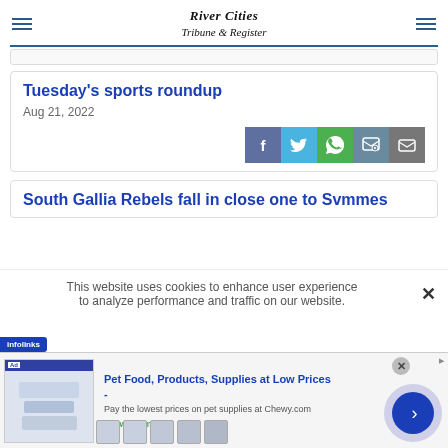River Cities Tribune & Register
Tuesday's sports roundup
Aug 21, 2022
South Gallia Rebels fall in close one to Symmes
This website uses cookies to enhance user experience to analyze performance and traffic on our website.
[Figure (infographic): Ad banner: Pet Food, Products, Supplies at Low Prices - Chewy.com with product images and play button]